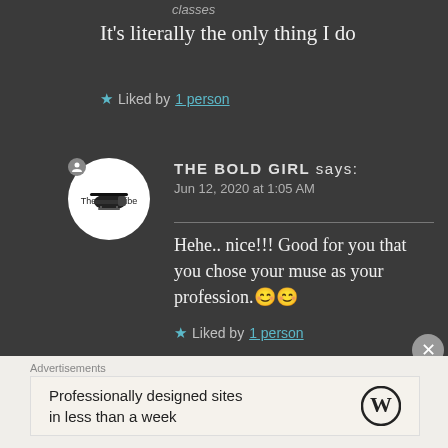classes
It’s literally the only thing I do
★ Liked by 1 person
THE BOLD GIRL says:
Jun 12, 2020 at 1:05 AM
Hehe.. nice!!! Good for you that you chose your muse as your profession.😊😊
★ Liked by 1 person
Advertisements
Professionally designed sites in less than a week